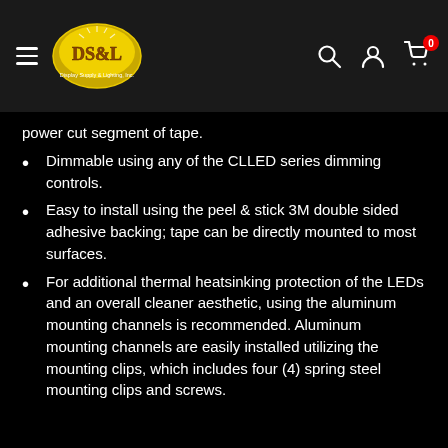DS&L Display Supply & Lighting, Inc.
power cut segment of tape.
Dimmable using any of the CLLED series dimming controls.
Easy to install using the peel & stick 3M double sided adhesive backing; tape can be directly mounted to most surfaces.
For additional thermal heatsinking protection of the LEDs and an overall cleaner aesthetic, using the aluminum mounting channels is recommended. Aluminum mounting channels are easily installed utilizing the mounting clips, which includes four (4) spring steel mounting clips and screws.